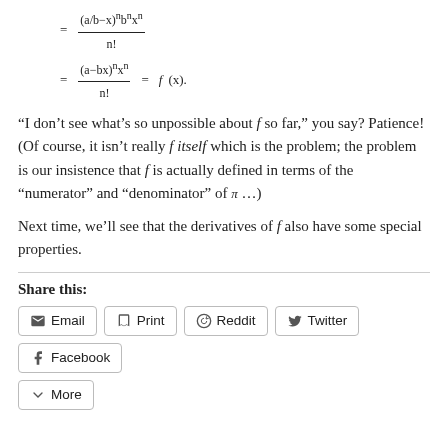“I don’t see what’s so unpossible about f so far,” you say? Patience! (Of course, it isn’t really f itself which is the problem; the problem is our insistence that f is actually defined in terms of the “numerator” and “denominator” of π …)
Next time, we’ll see that the derivatives of f also have some special properties.
Share this:
Email  Print  Reddit  Twitter  Facebook  More